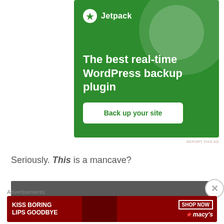[Figure (screenshot): Jetpack advertisement banner: green background with large decorative circles, Jetpack logo and name at top, headline text 'The best real-time WordPress backup plugin', and a white button reading 'Back up your site']
REPORT THIS AD
Seriously. This is a mancave?
[Figure (photo): Partially visible dark interior photo (mancave)]
Advertisements
[Figure (screenshot): Macy's advertisement: dark red background with woman's face showing lips, text 'KISS BORING LIPS GOODBYE', 'SHOP NOW' button, and Macy's logo with star]